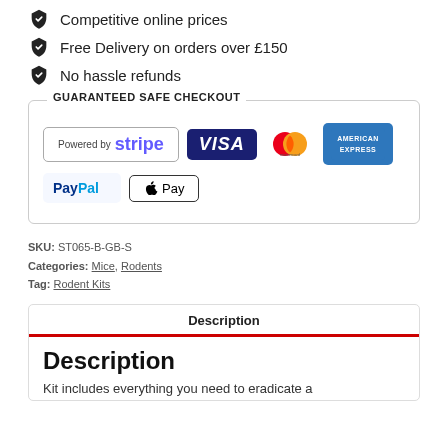Competitive online prices
Free Delivery on orders over £150
No hassle refunds
[Figure (infographic): Guaranteed Safe Checkout panel with payment method logos: Stripe, VISA, Mastercard, American Express, PayPal, Apple Pay]
SKU: ST065-B-GB-S
Categories: Mice, Rodents
Tag: Rodent Kits
Description
Description
Kit includes everything you need to eradicate a